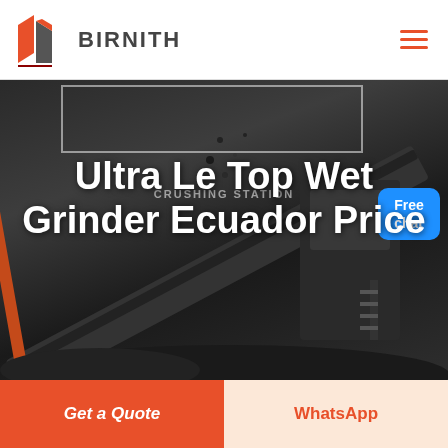BIRNITH
[Figure (photo): Industrial crushing station machinery in dark grayscale background with text overlay 'Ultra Le Top Wet Grinder Ecuador Price' and a 'Free chat' button in the upper right corner]
Ultra Le Top Wet Grinder Ecuador Price
Get a Quote
WhatsApp